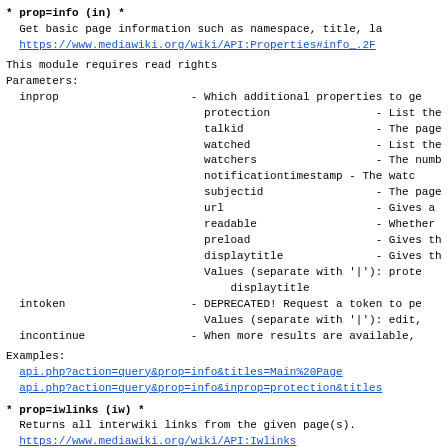* prop=info (in) *
  Get basic page information such as namespace, title, la
  https://www.mediawiki.org/wiki/API:Properties#info_.2F
This module requires read rights
Parameters:
  inprop                    - Which additional properties to ge
                              protection                - List the
                              talkid                    - The page
                              watched                   - List the
                              watchers                  - The numb
                              notificationtimestamp     - The watc
                              subjectid                 - The page
                              url                       - Gives a
                              readable                  - Whether
                              preload                   - Gives th
                              displaytitle              - Gives th
                              Values (separate with '|'): prote
                                  displaytitle
  intoken                   - DEPRECATED! Request a token to pe
                              Values (separate with '|'): edit,
  incontinue                - When more results are available,
Examples:
api.php?action=query&prop=info&titles=Main%20Page
  api.php?action=query&prop=info&inprop=protection&titles
* prop=iwlinks (iw) *
  Returns all interwiki links from the given page(s).
  https://www.mediawiki.org/wiki/API:Iwlinks